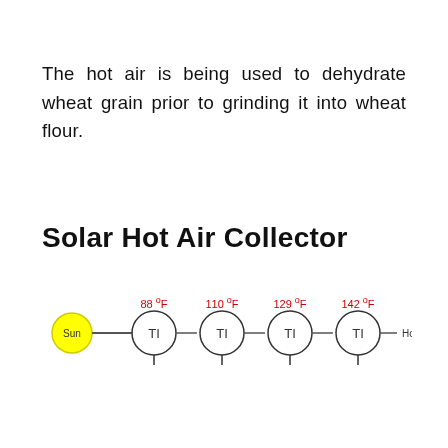The hot air is being used to dehydrate wheat grain prior to grinding it into wheat flour.
Solar Hot Air Collector
[Figure (schematic): Solar Hot Air Collector schematic showing the Sun on the left connected by an arrow to four temperature indicator circles labeled TI, with temperatures 88°F, 110°F, 129°F, and 142°F shown above each circle in red, and 'Hot air out' label to the right of the last circle.]